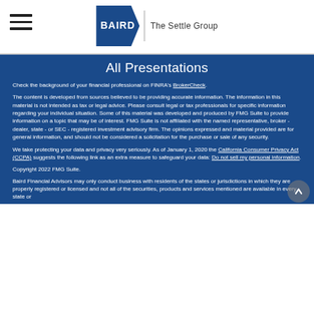BAIRD The Settle Group
All Presentations
Check the background of your financial professional on FINRA's BrokerCheck.
The content is developed from sources believed to be providing accurate information. The information in this material is not intended as tax or legal advice. Please consult legal or tax professionals for specific information regarding your individual situation. Some of this material was developed and produced by FMG Suite to provide information on a topic that may be of interest. FMG Suite is not affiliated with the named representative, broker - dealer, state - or SEC - registered investment advisory firm. The opinions expressed and material provided are for general information, and should not be considered a solicitation for the purchase or sale of any security.
We take protecting your data and privacy very seriously. As of January 1, 2020 the California Consumer Privacy Act (CCPA) suggests the following link as an extra measure to safeguard your data: Do not sell my personal information.
Copyright 2022 FMG Suite.
Baird Financial Advisors may only conduct business with residents of the states or jurisdictions in which they are properly registered or licensed and not all of the securities, products and services mentioned are available in every state or